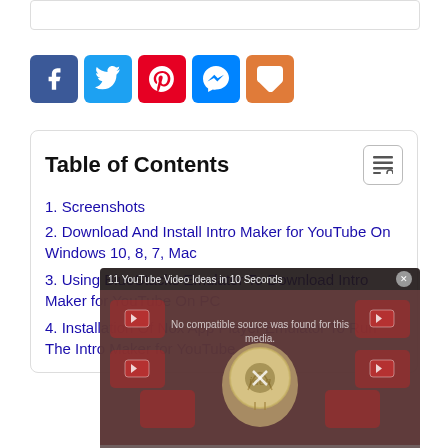[Figure (screenshot): White input box at top of page]
[Figure (infographic): Row of social media share buttons: Facebook (blue), Twitter (light blue), Pinterest (red), Messenger (blue), Mix (orange)]
Table of Contents
1. Screenshots
2. Download And Install Intro Maker for YouTube On Windows 10, 8, 7, Mac
3. Using BlueStacks Emulator To Download Intro Maker for YouTube On PC
4. Installation Of Nox App Player Emulator To Run The Intro Maker for YouTube
[Figure (screenshot): Video overlay showing '11 YouTube Video Ideas in 10 Seconds' with 'No compatible source was found for this' message and a lightbulb illustration with YouTube thumbnails in the background]